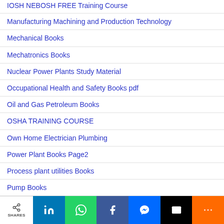IOSH NEBOSH FREE Training Course
Manufacturing Machining and Production Technology
Mechanical Books
Mechatronics Books
Nuclear Power Plants Study Material
Occupational Health and Safety Books pdf
Oil and Gas Petroleum Books
OSHA TRAINING COURSE
Own Home Electrician Plumbing
Power Plant Books Page2
Process plant utilities Books
Pump Books
Safety Books urdu
Steam Tables thermodynamics